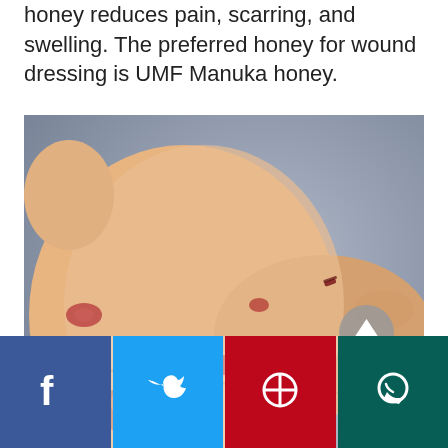honey reduces pain, scarring, and swelling. The preferred honey for wound dressing is UMF Manuka honey.
[Figure (photo): Close-up photograph of a human wrist and hand showing multiple wounds, blisters, and skin lesions/injuries on the skin surface against a grey background.]
Social share bar with Facebook, Twitter, Pinterest, and WhatsApp buttons